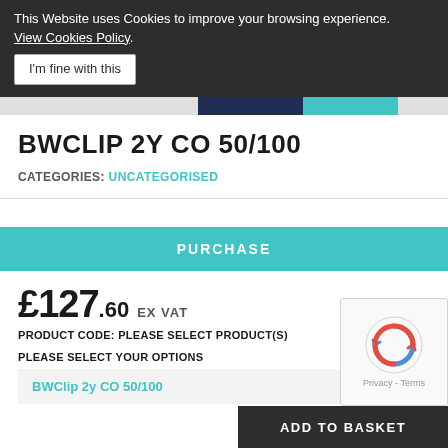This Website uses Cookies to improve your browsing experience. View Cookies Policy.
I'm fine with this
BWCLIP 2Y CO 50/100
CATEGORIES: UNCATEGORISED
PURCHASE
£127.60 EX VAT
PRODUCT CODE: PLEASE SELECT PRODUCT(S)
PLEASE SELECT YOUR OPTIONS
BWClip 2y CO 50/100
ADD TO BASKET